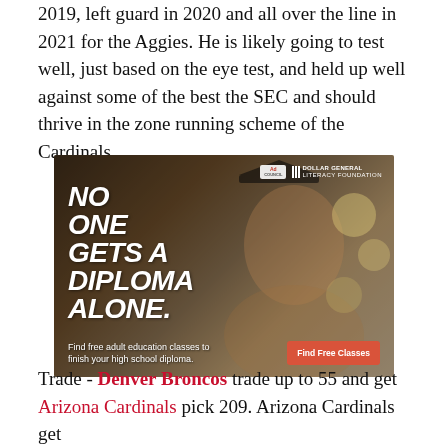2019, left guard in 2020 and all over the line in 2021 for the Aggies. He is likely going to test well, just based on the eye test, and held up well against some of the best the SEC and should thrive in the zone running scheme of the Cardinals.
[Figure (other): Advertisement: 'No One Gets A Diploma Alone.' Dollar General Literacy Foundation / Ad Council. Shows a man wearing a graduation cap. Text: Find free adult education classes to finish your high school diploma. Button: Find Free Classes]
Trade - Denver Broncos trade up to 55 and get Arizona Cardinals pick 209. Arizona Cardinals get